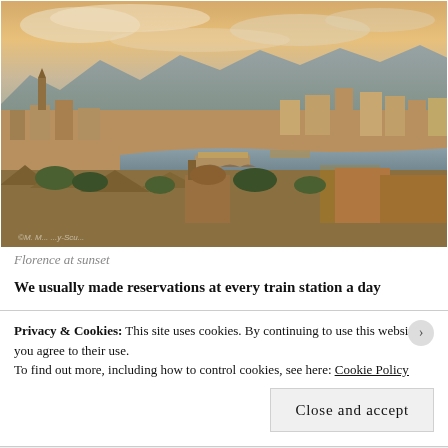[Figure (photo): Aerial panoramic view of Florence, Italy at sunset showing the Arno river with the Ponte Vecchio bridge, historic buildings, and mountains in the background under a warm golden sky.]
Florence at sunset
We usually made reservations at every train station a day
Privacy & Cookies: This site uses cookies. By continuing to use this website, you agree to their use.
To find out more, including how to control cookies, see here: Cookie Policy
Close and accept